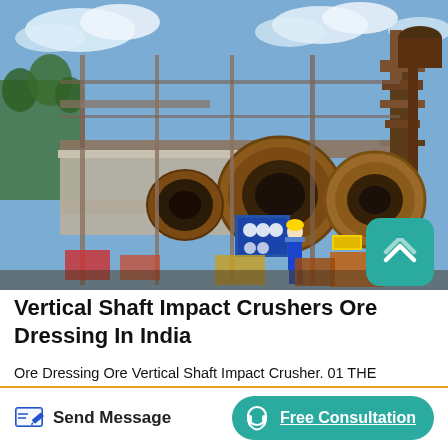[Figure (photo): Industrial mining facility showing large rotating drum mills, conveyor structures, steel scaffolding, and a worker in blue overalls in the foreground. Heavy machinery and ore processing equipment visible with rusty metallic structures against a sky with clouds.]
Vertical Shaft Impact Crushers Ore Dressing In India
Ore Dressing Ore Vertical Shaft Impact Crusher. 01 THE COPPER ORE CRUSHING PROCESSING PROCESSING TECHNOLOGY Copper ore processing production process include crushing grinding ore dressing three processes Crushing process the three sections of the closedcircuit is the most modern highhardness copper ore crushing to complete the ore